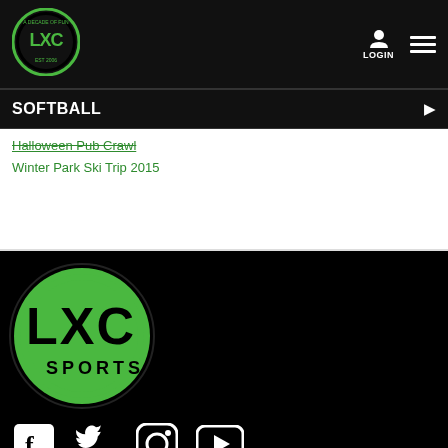[Figure (logo): LXC Sports circular logo in header, green ring with LXC text inside]
LOGIN  ☰
SOFTBALL ▶
Halloween Pub Crawl
Winter Park Ski Trip 2015
[Figure (logo): LXC Sports large circular green logo with SPORTS text below]
[Figure (illustration): Social media icons: Facebook, Twitter, Instagram, YouTube]
LXC Sports and Social Club
812 Lyndon Lane
Suite 202
Louisville, KY 40242
(502) 384 7529